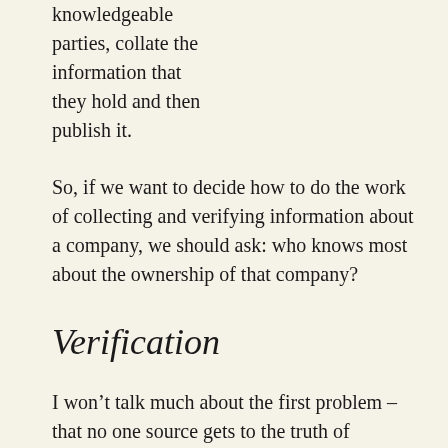knowledgeable parties, collate the information that they hold and then publish it.
So, if we want to decide how to do the work of collecting and verifying information about a company, we should ask: who knows most about the ownership of that company?
Verification
I won’t talk much about the first problem – that no one source gets to the truth of